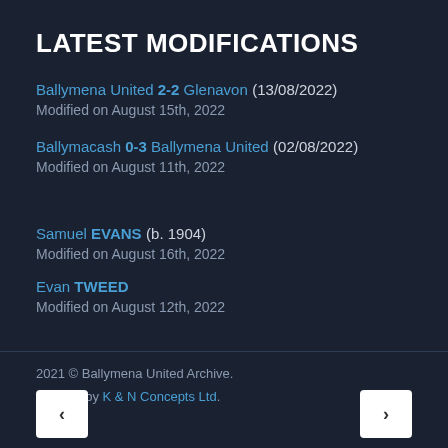LATEST MODIFICATIONS
Ballymena United 2-2 Glenavon (13/08/2022)
Modified on August 15th, 2022
Ballymacash 0-3 Ballymena United (02/08/2022)
Modified on August 11th, 2022
Samuel EVANS (b. 1904)
Modified on August 16th, 2022
Evan TWEED
Modified on August 12th, 2022
2021 © Ballymena United Archive.
Developed by K & N Concepts Ltd.